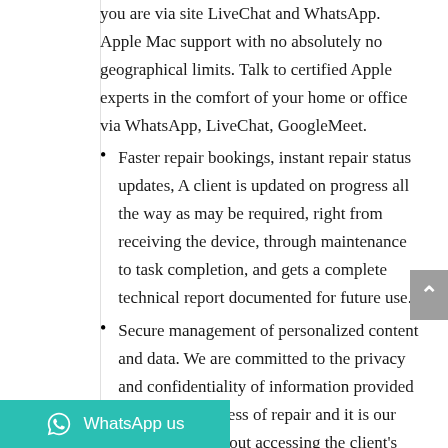you are via site LiveChat and WhatsApp. Apple Mac support with no absolutely no geographical limits. Talk to certified Apple experts in the comfort of your home or office via WhatsApp, LiveChat, GoogleMeet.
Faster repair bookings, instant repair status updates, A client is updated on progress all the way as may be required, right from receiving the device, through maintenance to task completion, and gets a complete technical report documented for future use.
Secure management of personalized content and data. We are committed to the privacy and confidentiality of information provided to us in the process of repair and it is our policy to rs without accessing the client's drive unless required.